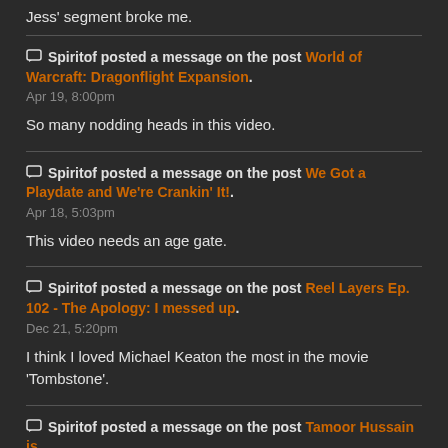Jess' segment broke me.
Spiritof posted a message on the post World of Warcraft: Dragonflight Expansion.
Apr 19, 8:00pm
So many nodding heads in this video.
Spiritof posted a message on the post We Got a Playdate and We're Crankin' It!.
Apr 18, 5:03pm
This video needs an age gate.
Spiritof posted a message on the post Reel Layers Ep. 102 - The Apology: I messed up.
Dec 21, 5:20pm
I think I loved Michael Keaton the most in the movie 'Tombstone'.
Spiritof posted a message on the post Tamoor Hussain is